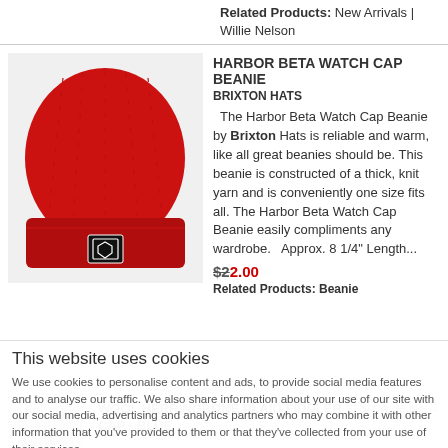Related Products: New Arrivals | Willie Nelson
[Figure (photo): Red knit beanie hat (Harbor Beta Watch Cap Beanie) with small Brixton logo patch on cuff]
HARBOR BETA WATCH CAP BEANIE
BRIXTON HATS
The Harbor Beta Watch Cap Beanie by Brixton Hats is reliable and warm, like all great beanies should be. This beanie is constructed of a thick, knit yarn and is conveniently one size fits all. The Harbor Beta Watch Cap Beanie easily compliments any wardrobe.   Approx. 8 1/4" Length...
$22.00
Related Products: Beanie
This website uses cookies
We use cookies to personalise content and ads, to provide social media features and to analyse our traffic. We also share information about your use of our site with our social media, advertising and analytics partners who may combine it with other information that you've provided to them or that they've collected from your use of their services.
Allow all cookies
WOOL HERRINGBONE PLAID FIDDLER CAP - BLUE
Show details